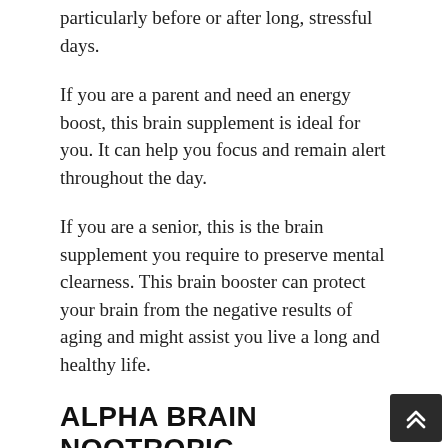particularly before or after long, stressful days.
If you are a parent and need an energy boost, this brain supplement is ideal for you. It can help you focus and remain alert throughout the day.
If you are a senior, this is the brain supplement you require to preserve mental clearness. This brain booster can protect your brain from the negative results of aging and might assist you live a long and healthy life.
ALPHA BRAIN NOOTROPIC
Alpha Brain is a popular nootropic stack for improving cognitive efficiency, focusing level and more. It boosts brain waves' production, that makes you feel calmer and more focused. It also consists of L-Theanine and L-tyrosine that improve concentration by promoting attentiveness and